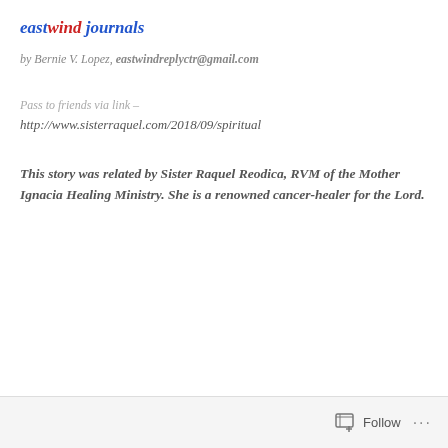eastwind journals
by Bernie V. Lopez, eastwindreplyctr@gmail.com
Pass to friends via link –
http://www.sisterraquel.com/2018/09/spiritual
This story was related by Sister Raquel Reodica, RVM of the Mother Ignacia Healing Ministry. She is a renowned cancer-healer for the Lord.
Follow  ...